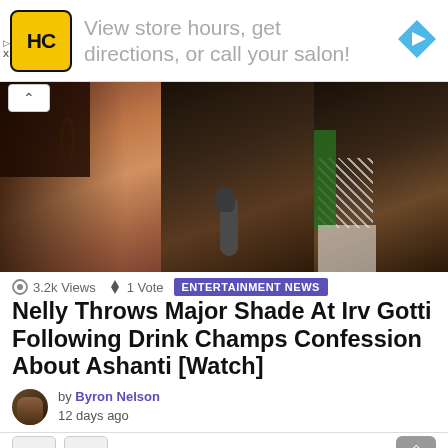[Figure (advertisement): HC salon ad banner with yellow logo, text 'View store hours, get directions, or call your salon!' and blue diamond arrow icon]
[Figure (photo): Hero photo showing three celebrities cropped at chin/neck level: a woman with hoop earrings on left, a man with a microphone in center, and a man with a chain necklace and green scarf on right - Ashanti, Irv Gotti, and Nelly]
3.2k Views  1 Vote  ENTERTAINMENT NEWS
Nelly Throws Major Shade At Irv Gotti Following Drink Champs Confession About Ashanti [Watch]
by Byron Nelson
12 days ago
+1